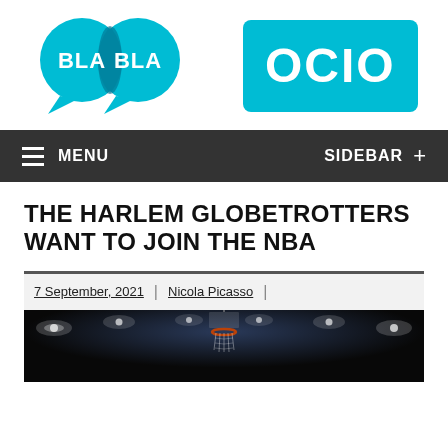[Figure (logo): BLA BLA OCIO website logo — two overlapping cyan speech bubbles with 'BLA BLA' text, and a cyan rounded rectangle with 'OCIO' text]
MENU  SIDEBAR +
THE HARLEM GLOBETROTTERS WANT TO JOIN THE NBA
7 September, 2021 | Nicola Picasso |
[Figure (photo): Dark arena photo showing a basketball hoop from below, with arena lights visible in the background]